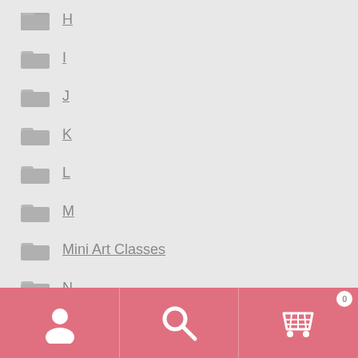H
I
J
K
L
M
Mini Art Classes
N
Numbers
Numbers & Letters
O
[Figure (infographic): Bottom navigation bar with user/account icon, search icon, and shopping cart icon with badge showing 0]